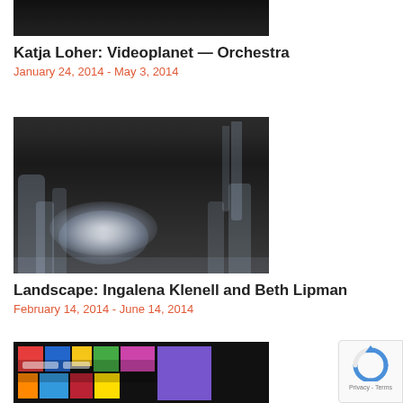[Figure (photo): Top portion of a dark video/art installation image, partially cropped at top]
Katja Loher: Videoplanet — Orchestra
January 24, 2014 - May 3, 2014
[Figure (photo): Gallery installation showing large ice or glass sculpture in a dark room with glowing white light beneath translucent forms]
Landscape: Ingalena Klenell and Beth Lipman
February 14, 2014 - June 14, 2014
[Figure (photo): Colorful art piece with bright blocks of color, partially visible at bottom of page]
[Figure (other): reCAPTCHA badge with Privacy and Terms links]